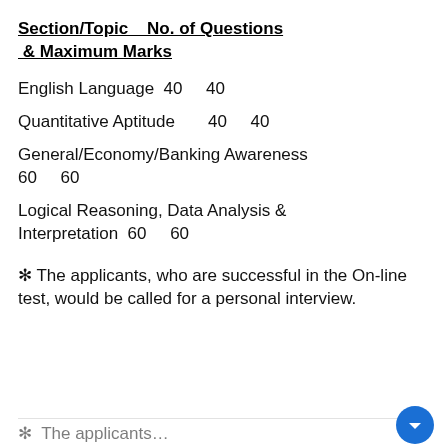Section/Topic    No. of Questions & Maximum Marks
English Language  40     40
Quantitative Aptitude      40     40
General/Economy/Banking Awareness  60     60
Logical Reasoning, Data Analysis & Interpretation  60     60
❋ The applicants, who are successful in the On-line test, would be called for a personal interview.
The applicants…